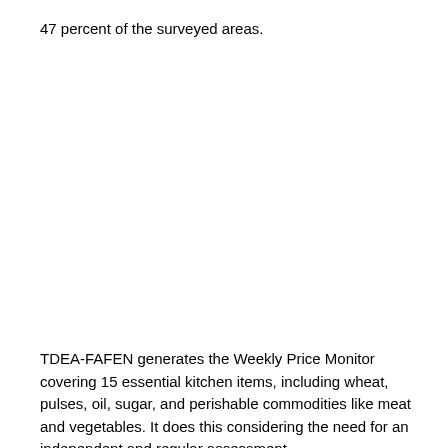47 percent of the surveyed areas.
TDEA-FAFEN generates the Weekly Price Monitor covering 15 essential kitchen items, including wheat, pulses, oil, sugar, and perishable commodities like meat and vegetables. It does this considering the need for an independent and regular assessment